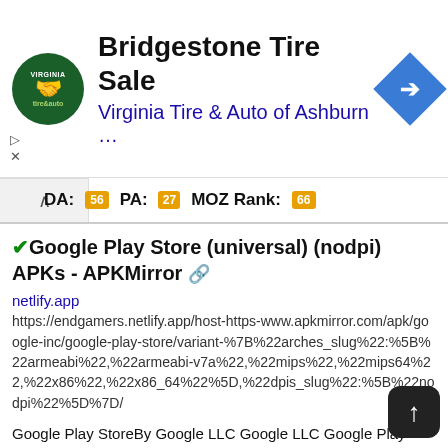[Figure (screenshot): Advertisement banner for Bridgestone Tire Sale by Virginia Tire & Auto of Ashburn, with logo, navigation icon, and ad controls]
DA: 56 PA: 27 MOZ Rank: 66
✓Google Play Store (universal) (nodpi) APKs - APKMirror 🔗
netlify.app
https://endgamers.netlify.app/host-https-www.apkmirror.com/apk/google-inc/google-play-store/variant-%7B%22arches_slug%22:%5B%22armeabi%22,%22armeabi-v7a%22,%22mips%22,%22mips64%22,%22x86%22,%22x86_64%22%5D,%22dpis_slug%22:%5B%22nodpi%22%5D%7D/
Google Play StoreBy Google LLC Google LLC Google Play StoreGoogle Play Services UpdaterGoogle Play Services Updater Wear Google Play StoreGoogle Play Store And Google Play Store Wear Market universal nodpi AdvertisementRemove ads, ...